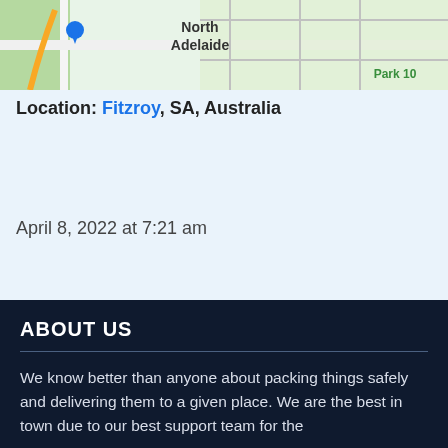[Figure (map): Map screenshot showing North Adelaide area with streets and Park 10 label visible]
Location: Fitzroy, SA, Australia
April 8, 2022 at 7:21 am
ABOUT US
We know better than anyone about packing things safely and delivering them to a given place. We are the best in town due to our best support team for the